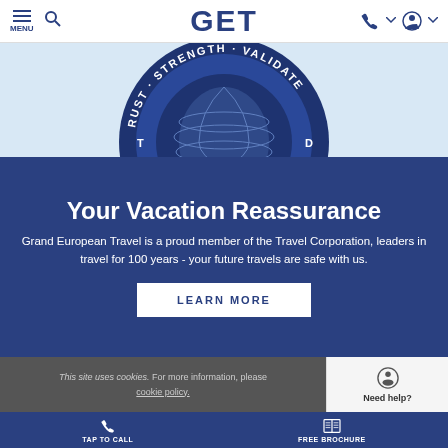MENU | GET
[Figure (logo): Circular badge with text TRUST · STRENGTH · VALIDATED around a globe icon, dark navy blue]
Your Vacation Reassurance
Grand European Travel is a proud member of the Travel Corporation, leaders in travel for 100 years - your future travels are safe with us.
LEARN MORE
This site uses cookies. For more information, please cookie policy.
Need help?
TAP TO CALL   FREE BROCHURE